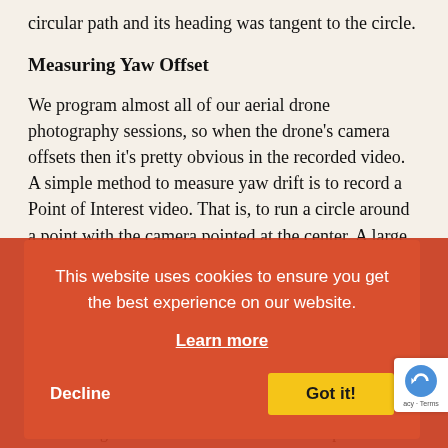circular path and its heading was tangent to the circle.
Measuring Yaw Offset
We program almost all of our aerial drone photography sessions, so when the drone's camera offsets then it's pretty obvious in the recorded video. A simple method to measure yaw drift is to record a Point of Interest video. That is, to run a circle around a point with the camera pointed at the center. A large radius allows the drone to
[Figure (screenshot): Cookie consent banner overlay with orange/red background reading 'This website uses cookies to ensure you get the best experience on our website.' with a 'Learn more' link, 'Decline' button, and yellow 'Got it!' button. A partial reCAPTCHA badge is visible at the bottom right.]
distance), and a point where the target zig means distance/angle from the centerline to the center point